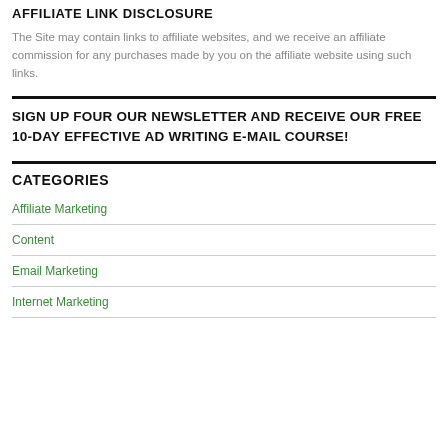AFFILIATE LINK DISCLOSURE
The Site may contain links to affiliate websites, and we receive an affiliate commission for any purchases made by you on the affiliate website using such links.
SIGN UP FOUR OUR NEWSLETTER AND RECEIVE OUR FREE 10-DAY EFFECTIVE AD WRITING E-MAIL COURSE!
CATEGORIES
Affiliate Marketing
Content
Email Marketing
Internet Marketing